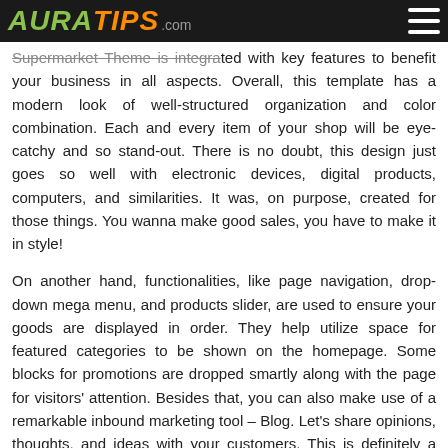AURATIPS.com
Supermarket Theme is integrated with key features to benefit your business in all aspects. Overall, this template has a modern look of well-structured organization and color combination. Each and every item of your shop will be eye-catchy and so stand-out. There is no doubt, this design just goes so well with electronic devices, digital products, computers, and similarities. It was, on purpose, created for those things. You wanna make good sales, you have to make it in style!
On another hand, functionalities, like page navigation, drop-down mega menu, and products slider, are used to ensure your goods are displayed in order. They help utilize space for featured categories to be shown on the homepage. Some blocks for promotions are dropped smartly along with the page for visitors' attention. Besides that, you can also make use of a remarkable inbound marketing tool – Blog. Let's share opinions, thoughts, and ideas with your customers. This is definitely a good way to communicate with website visitors, along with all social network sharing. You are going to be amazed by other features, too.